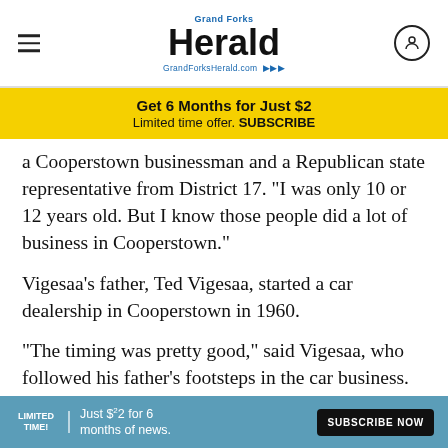Grand Forks Herald — GrandForksHerald.com
Get 6 Months for Just $2
Limited time offer. SUBSCRIBE
a Cooperstown businessman and a Republican state representative from District 17. "I was only 10 or 12 years old. But I know those people did a lot of business in Cooperstown."
Vigesaa's father, Ted Vigesaa, started a car dealership in Cooperstown in 1960.
"The timing was pretty good," said Vigesaa, who followed his father's footsteps in the car business.
Cooperstown's population peaked during the const... 950 to 1,424 in 1920, then to 1,487 in 1920, according to
LIMITED TIME! Just $2 for 6 months of news. SUBSCRIBE NOW